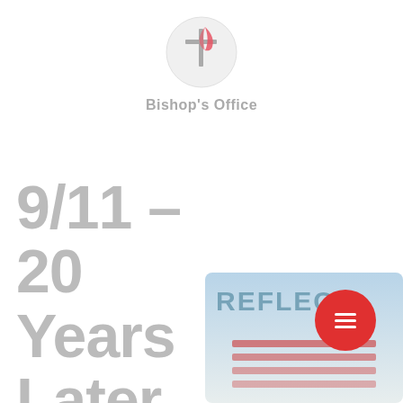[Figure (logo): United Methodist Church cross and flame logo inside a light gray circle]
Bishop's Office
9/11 – 20 Years Later
[Figure (photo): Partial view of a book or graphic with text reading 'REFLECT' and imagery of flags or patriotic imagery below]
[Figure (other): Red circular hamburger menu button with three white horizontal lines]